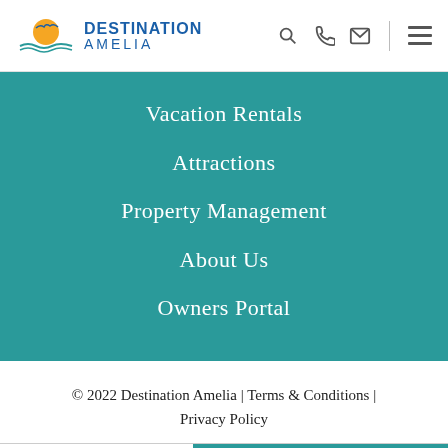[Figure (logo): Destination Amelia logo with sun/seabird graphic and navigation icons (search, phone, email, hamburger menu)]
Vacation Rentals
Attractions
Property Management
About Us
Owners Portal
© 2022 Destination Amelia | Terms & Conditions | Privacy Policy
CONTACT US
FIND YOUR RENTAL